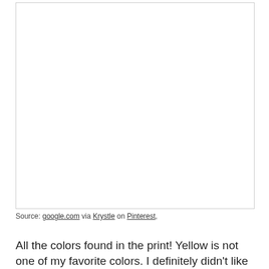[Figure (photo): A white/blank image placeholder area with a light border]
Source: google.com via Krystle on Pinterest,
All the colors found in the print! Yellow is not one of my favorite colors. I definitely didn't like it in our guest room